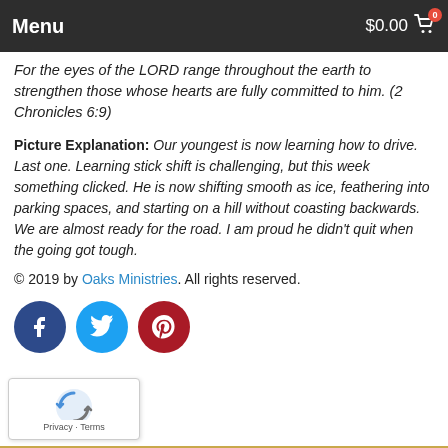Menu  $0.00  0
got right.
For the eyes of the LORD range throughout the earth to strengthen those whose hearts are fully committed to him. (2 Chronicles 6:9)
Picture Explanation: Our youngest is now learning how to drive. Last one. Learning stick shift is challenging, but this week something clicked. He is now shifting smooth as ice, feathering into parking spaces, and starting on a hill without coasting backwards. We are almost ready for the road. I am proud he didn't quit when the going got tough.
© 2019 by Oaks Ministries. All rights reserved.
[Figure (other): Social share buttons: Facebook (dark blue circle), Twitter (light blue circle), Pinterest (dark red circle)]
[Figure (other): reCAPTCHA widget with Privacy and Terms links]